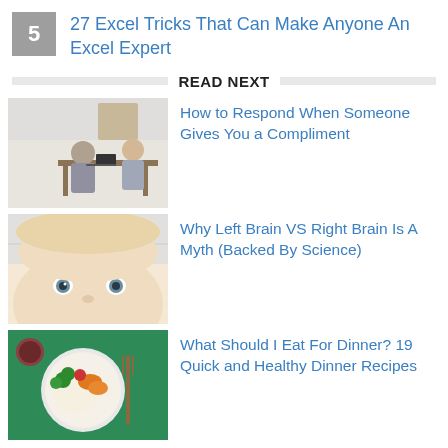5 — 27 Excel Tricks That Can Make Anyone An Excel Expert
READ NEXT
[Figure (photo): Two women sitting at a table with computers, one on phone]
How to Respond When Someone Gives You a Compliment
[Figure (photo): Close-up of a baby's face peeking over a surface]
Why Left Brain VS Right Brain Is A Myth (Backed By Science)
[Figure (photo): Overhead view of a plate of food with fork on green background]
What Should I Eat For Dinner? 19 Quick and Healthy Dinner Recipes
[Figure (photo): Side profile of person with orange/red hair]
What Are Core Values? 31 Core Values to Live By